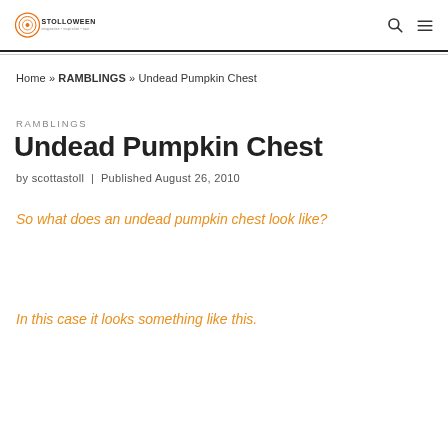STOLLOWEEN
Home » RAMBLINGS » Undead Pumpkin Chest
RAMBLINGS
Undead Pumpkin Chest
by scottastoll | Published August 26, 2010
So what does an undead pumpkin chest look like?
In this case it looks something like this.